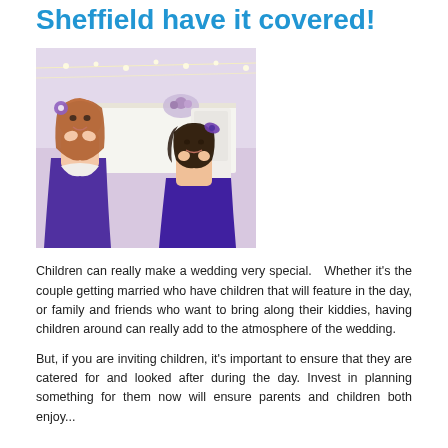Sheffield have it covered!
[Figure (photo): Two young girls in purple bridesmaids dresses sitting at a wedding reception table, resting their chins on their hands and looking at the camera. Fairy lights and floral decorations visible in the background.]
Children can really make a wedding very special.   Whether it's the couple getting married who have children that will feature in the day, or family and friends who want to bring along their kiddies, having children around can really add to the atmosphere of the wedding.
But, if you are inviting children, it's important to ensure that they are catered for and looked after during the day. Invest in planning something for them now will ensure parents and children both enjoy...